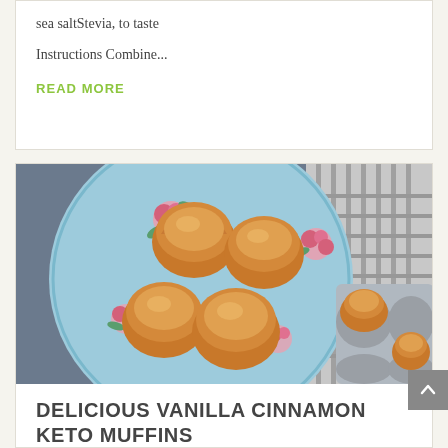sea saltStevia, to taste
Instructions Combine...
READ MORE
[Figure (photo): Photo of baked keto muffins on a blue floral plate with pink roses, alongside a muffin tin with more muffins, on a striped cloth background]
DELICIOUS VANILLA CINNAMON KETO MUFFINS